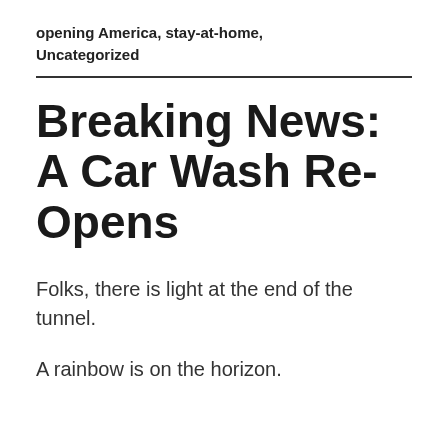opening America, stay-at-home, Uncategorized
Breaking News: A Car Wash Re-Opens
Folks, there is light at the end of the tunnel.
A rainbow is on the horizon.